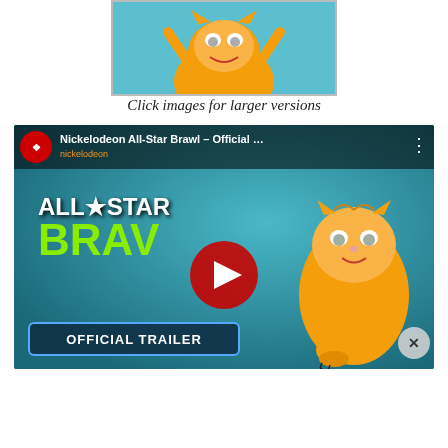[Figure (screenshot): Garfield character 3D render thumbnail image, cropped at top, showing orange cartoon cat against teal background]
Click images for larger versions
[Figure (screenshot): YouTube video embed showing Nickelodeon All-Star Brawl Official Trailer with Garfield character, play button overlay, and Official Trailer banner]
[Figure (screenshot): Advertisement banner for Disney Bundle featuring Hulu, Disney+, and ESPN+ logos with 'GET THE DISNEY BUNDLE' call to action button]